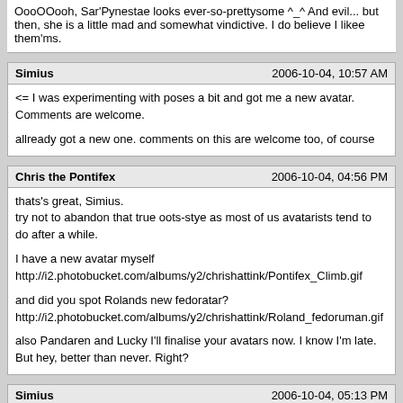OooOOooh, Sar'Pynestae looks ever-so-prettysome ^_^ And evil... but then, she is a little mad and somewhat vindictive. I do believe I likee them'ms.
Simius	2006-10-04, 10:57 AM
<= I was experimenting with poses a bit and got me a new avatar. Comments are welcome.
allready got a new one. comments on this are welcome too, of course
Chris the Pontifex	2006-10-04, 04:56 PM
thats's great, Simius.
try not to abandon that true oots-stye as most of us avatarists tend to do after a while.
I have a new avatar myself
http://i2.photobucket.com/albums/y2/chrishattink/Pontifex_Climb.gif
and did you spot Rolands new fedoratar?
http://i2.photobucket.com/albums/y2/chrishattink/Roland_fedoruman.gif
also Pandaren and Lucky I'll finalise your avatars now. I know I'm late. But hey, better than never. Right?
Simius	2006-10-04, 05:13 PM
that is one very very cool avatar Chris.
I'm a fanatic rock-climber myself. :)
Chris the Pontifex	2006-10-04, 05:40 PM
one for Lucky:
http://i2.photobucket.com/albums/y2/chrishattink/lucky_kniveguy.gif